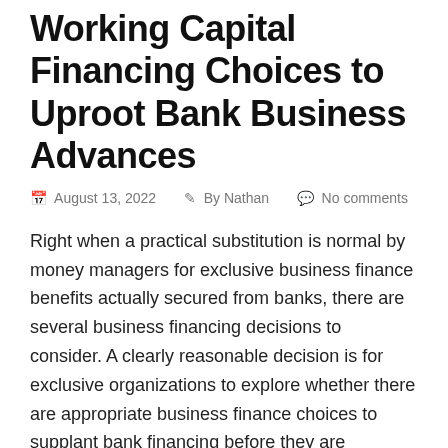Working Capital Financing Choices to Uproot Bank Business Advances
August 13, 2022   By Nathan   No comments
Right when a practical substitution is normal by money managers for exclusive business finance benefits actually secured from banks, there are several business financing decisions to consider. A clearly reasonable decision is for exclusive organizations to explore whether there are appropriate business finance choices to supplant bank financing before they are genuinely expected considering the [...]